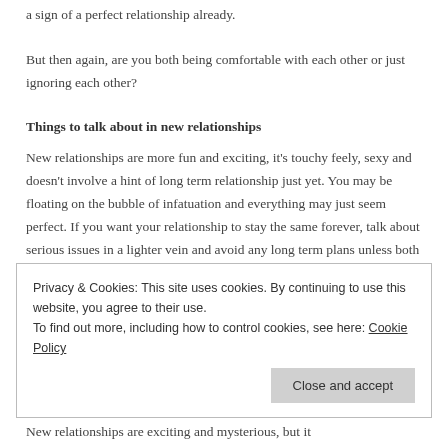a sign of a perfect relationship already.
But then again, are you both being comfortable with each other or just ignoring each other?
Things to talk about in new relationships
New relationships are more fun and exciting, it’s touchy feely, sexy and doesn’t involve a hint of long term relationship just yet. You may be floating on the bubble of infatuation and everything may just seem perfect. If you want your relationship to stay the same forever, talk about serious issues in a lighter vein and avoid any long term plans unless both of you are
Privacy & Cookies: This site uses cookies. By continuing to use this website, you agree to their use.
To find out more, including how to control cookies, see here: Cookie Policy
Close and accept
New relationships are exciting and mysterious, but it